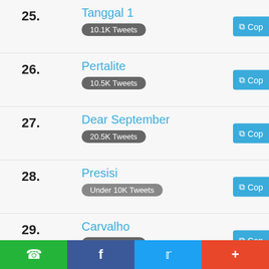25. Tanggal 1 — 10.1K Tweets
26. Pertalite — 10.5K Tweets
27. Dear September — 20.5K Tweets
28. Presisi — Under 10K Tweets
29. Carvalho — 58.3K Tweets
30. Pertamax — Under 10K Tweets